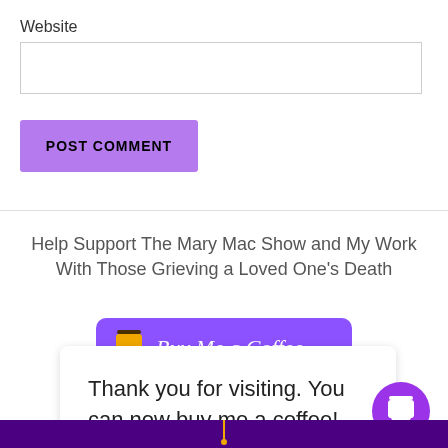Website
POST COMMENT
Help Support The Mary Mac Show and My Work With Those Grieving a Loved One's Death
[Figure (illustration): Purple 'Buy Me a Coffee' button with coffee cup icon and cursive text]
Thank you for visiting. You can now buy me a coffee!